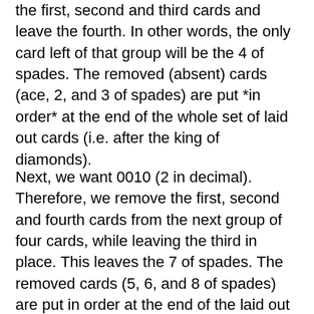the first, second and third cards and leave the fourth. In other words, the only card left of that group will be the 4 of spades. The removed (absent) cards (ace, 2, and 3 of spades) are put *in order* at the end of the whole set of laid out cards (i.e. after the king of diamonds).
Next, we want 0010 (2 in decimal). Therefore, we remove the first, second and fourth cards from the next group of four cards, while leaving the third in place. This leaves the 7 of spades. The removed cards (5, 6, and 8 of spades) are put in order at the end of the laid out cards. [When we get to the back of the pack, the removed cards